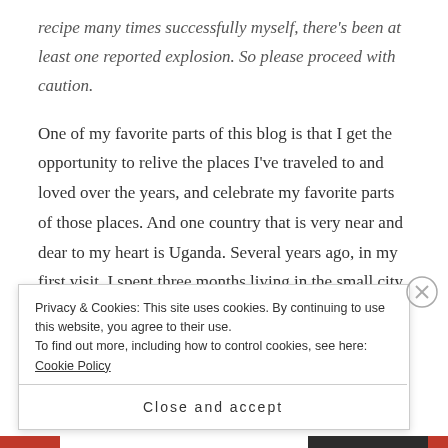recipe many times successfully myself, there's been at least one reported explosion. So please proceed with caution.
One of my favorite parts of this blog is that I get the opportunity to relive the places I've traveled to and loved over the years, and celebrate my favorite parts of those places. And one country that is very near and dear to my heart is Uganda. Several years ago, in my first visit, I spent three months living in the small city of Mbarara and working with health workers in rural villages. Three years later, I returned again to visit
Privacy & Cookies: This site uses cookies. By continuing to use this website, you agree to their use.
To find out more, including how to control cookies, see here: Cookie Policy
Close and accept